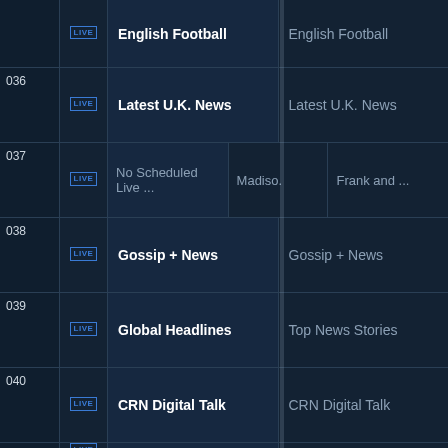| Channel | Icon | Now | Next |
| --- | --- | --- | --- |
|  | LIVE | English Football | English Football |
| 036 | LIVE | Latest U.K. News | Latest U.K. News |
| 037 | LIVE | No Scheduled Live ... | Madiso. | Frank and ... |
| 038 | LIVE | Gossip + News | Gossip + News |
| 039 | LIVE | Global Headlines | Top News Stories |
| 040 | LIVE | CRN Digital Talk | CRN Digital Talk |
| 041 | LIVE HD | Pattrn - Latest News |  |